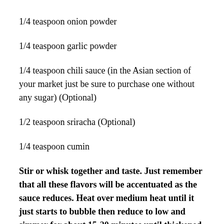1/4 teaspoon onion powder
1/4 teaspoon garlic powder
1/4 teaspoon chili sauce (in the Asian section of your market just be sure to purchase one without any sugar) (Optional)
1/2 teaspoon sriracha (Optional)
1/4 teaspoon cumin
Stir or whisk together and taste. Just remember that all these flavors will be accentuated as the sauce reduces. Heat over medium heat until it just starts to bubble then reduce to low and simmer for about 15-20 minutes until thickened. Add additional salt, etc.,